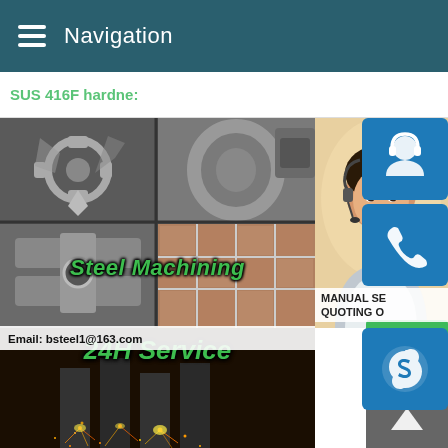Navigation
SUS 416F hardne:
[Figure (photo): Collage of four steel machining images: gears/cut steel parts top-left, metal rings top-right, metal clamp bottom-left, stone tiles bottom-right]
Steel Machining
[Figure (photo): Industrial laser cutting machine producing bright sparks in a dark workshop]
24H Service
[Figure (photo): Female customer service representative with headset smiling against bright background]
[Figure (other): Blue button with headset/customer service icon]
[Figure (other): Blue button with telephone icon]
MANUAL SE QUOTING O
[Figure (other): Blue button with Skype logo icon]
Email: bsteel1@163.com
[Figure (other): Green chat bubble button]
[Figure (other): Gray up-arrow / back-to-top button]